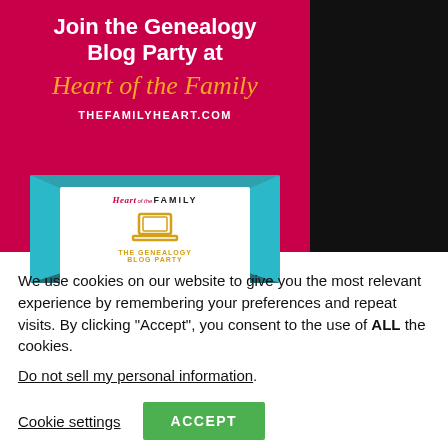[Figure (infographic): Promotional banner with crimson/magenta background showing 'Join the Genealogy Blog Party at Heart of the Family' with website URL THEFAMILYHEART.COM and an envelope graphic containing the Heart of the Family logo and laptop icon with text THE GENEALOGY BLOG PARTY]
We use cookies on our website to give you the most relevant experience by remembering your preferences and repeat visits. By clicking “Accept”, you consent to the use of ALL the cookies.
Do not sell my personal information.
Cookie settings
ACCEPT